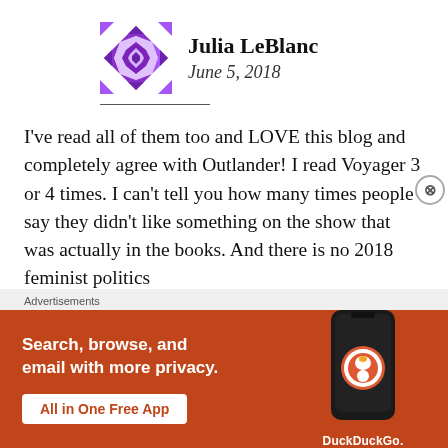Julia LeBlanc
June 5, 2018
I've read all of them too and LOVE this blog and completely agree with Outlander! I read Voyager 3 or 4 times. I can't tell you how many times people say they didn't like something on the show that was actually in the books. And there is no 2018 feminist politics
[Figure (infographic): DuckDuckGo advertisement banner with orange background showing 'Search, browse, and email with more privacy. All in One Free App' text with a phone graphic and DuckDuckGo logo]